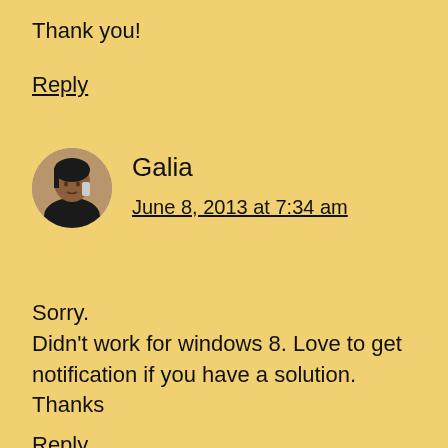Thank you!
Reply
[Figure (photo): Round avatar photo of a woman talking on a phone, shown from shoulders up]
Galia
June 8, 2013 at 7:34 am
Sorry.
Didn't work for windows 8. Love to get notification if you have a solution.
Thanks
Reply